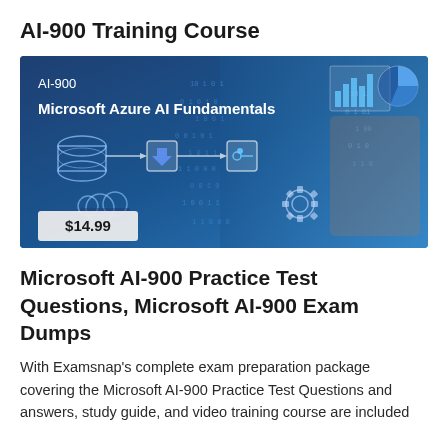AI-900 Training Course
[Figure (photo): Banner image for Microsoft Azure AI Fundamentals AI-900 course showing a person touching a digital screen with AI/data visualization icons, flowchart elements, binary code overlay, and a price tag of $14.99]
Microsoft AI-900 Practice Test Questions, Microsoft AI-900 Exam Dumps
With Examsnap's complete exam preparation package covering the Microsoft AI-900 Practice Test Questions and answers, study guide, and video training course are included